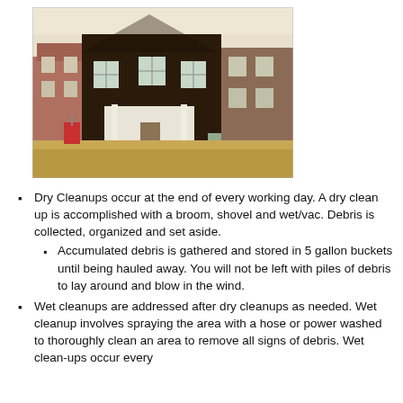[Figure (photo): Exterior photo of a dark brown/brick residential house with white porch columns, neighboring brick row houses visible to the left, dry grass in front yard.]
Dry Cleanups occur at the end of every working day. A dry clean up is accomplished with a broom, shovel and wet/vac. Debris is collected, organized and set aside.
Accumulated debris is gathered and stored in 5 gallon buckets until being hauled away. You will not be left with piles of debris to lay around and blow in the wind.
Wet cleanups are addressed after dry cleanups as needed. Wet cleanup involves spraying the area with a hose or power washed to thoroughly clean an area to remove all signs of debris. Wet clean-ups occur every